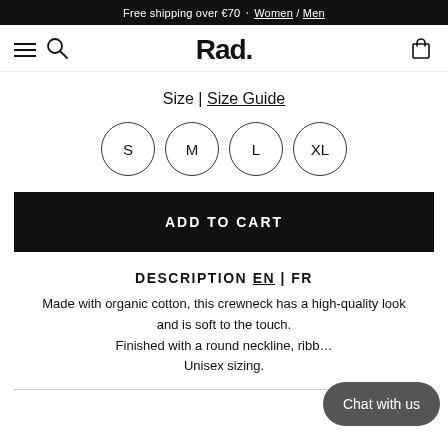Free shipping over €70 ⬝ Women / Men
Rad.
Size | Size Guide
[Figure (other): Four size selector buttons in circles: S, M, L, XL]
ADD TO CART
DESCRIPTION EN | FR
Made with organic cotton, this crewneck has a high-quality look and is soft to the touch. Finished with a round neckline, ribbed... Unisex sizing.
Chat with us